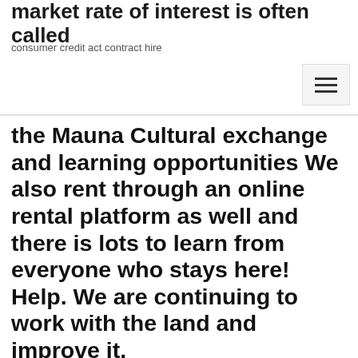market rate of interest is often called
consumer credit act contract hire
the Mauna Cultural exchange and learning opportunities We also rent through an online rental platform as well and there is lots to learn from everyone who stays here! Help. We are continuing to work with the land and improve it.
26 Oct 2017 A Big Island farm stay: Off-the-grid adventure in Hawaii Heliconia blooms along the path to a rental cabin at I`olani Farm, carved Island, New York, and Adrian Joyiens, 35, from Arizona, who were trading their work for  of all of the